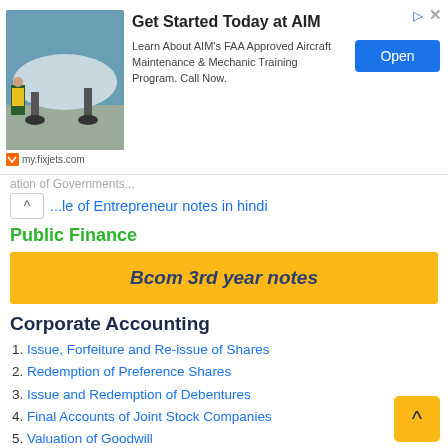[Figure (screenshot): Advertisement banner for AIM FAA Approved Aircraft Maintenance and Mechanic Training Program at my.fixjets.com with an airplane photo, Open button, and close/info icons]
...le of Entrepreneur notes in hindi
Public Finance
Bcom 3rd year notes
Corporate Accounting
1. Issue, Forfeiture and Re-issue of Shares
2. Redemption of Preference Shares
3. Issue and Redemption of Debentures
4. Final Accounts of Joint Stock Companies
5. Valuation of Goodwill
6. Valuation of Shares